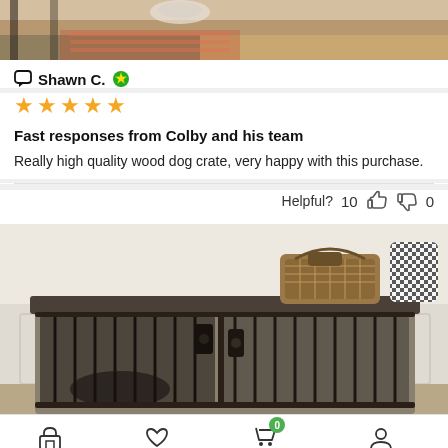[Figure (photo): Top portion of a product photo showing a wooden dog crate with a rug and furniture visible]
Shawn C. [verified badge]
★★★★★
Fast responses from Colby and his team
Really high quality wood dog crate, very happy with this purchase.
Helpful? 10 [thumbs up] [thumbs down] 0
[Figure (photo): A wooden dog crate with dark metal sliding barn door hardware, decorated with a wicker basket and black-and-white patterned vase on top]
Shop  Wishlist  Cart  My account